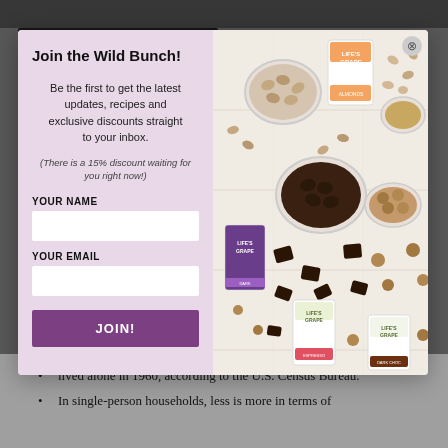[Figure (screenshot): Modal popup overlay on a webpage. Left panel has lavender/mauve background with title 'Join the Wild Bunch!', descriptive text about getting latest updates, recipes and exclusive discounts, a 15% discount note, form fields for YOUR NAME and YOUR EMAIL, and a purple JOIN! button. Right panel shows a product photo of Life's Grape snack packages surrounded by nuts, chocolate pieces, coffee beans, and peanut butter on a white wood surface.]
Join the Wild Bunch!
Be the first to get the latest updates, recipes and exclusive discounts straight to your inbox.
(There is a 15% discount waiting for you right now!)
YOUR NAME
YOUR EMAIL
JOIN!
lived alone in 1960, according to the U.S. Census Bureau.
In single-person households, less is more in terms of